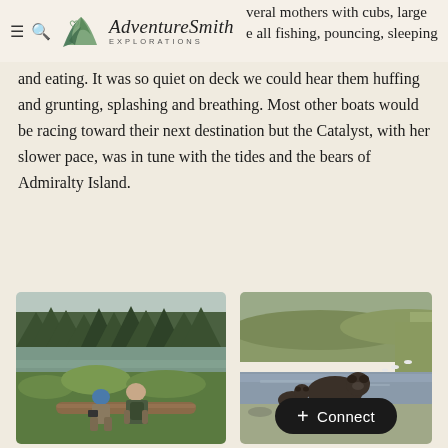AdventureSmith Explorations — navigation header with logo
several mothers with cubs, large e all fishing, pouncing, sleeping and eating. It was so quiet on deck we could hear them huffing and grunting, splashing and breathing. Most other boats would be racing toward their next destination but the Catalyst, with her slower pace, was in tune with the tides and the bears of Admiralty Island.
[Figure (photo): Two people sitting on a log in a green meadow/wetland area, one wearing a blue hat, photographing wildlife. Dense evergreen forest and misty mountains in background.]
[Figure (photo): A brown bear walking through a shallow river/stream in a grassy wetland. Birds visible in the background near the water.]